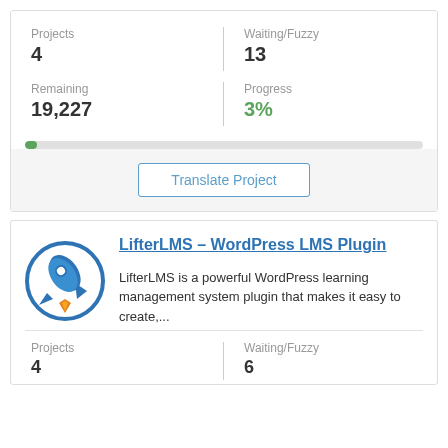Projects
4
Waiting/Fuzzy
13
Remaining
19,227
Progress
3%
Translate Project
[Figure (logo): LifterLMS rocket logo — blue circular icon with a rocket and orange flame]
LifterLMS – WordPress LMS Plugin
LifterLMS is a powerful WordPress learning management system plugin that makes it easy to create,...
Projects
Waiting/Fuzzy
4
6